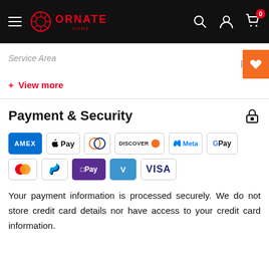ORNATE HOME — navigation bar with search, account, and cart icons
| Service Area | Flat Rate |
| --- | --- |
+ View more
Payment & Security
[Figure (logo): Payment method logos: AMEX, Apple Pay, Diners, Discover, Meta, Google Pay, Mastercard, PayPal, OPay, Venmo, Visa]
Your payment information is processed securely. We do not store credit card details nor have access to your credit card information.